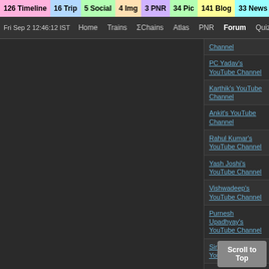126 Timeline | 16 Trip | 5 Social | 4 Img | 3 PNR | 34 Pic | 141 Blog | 33 News | 3 Topic
Fri Sep 2 12:46:12 IST  Home  Trains  ΣChains  Atlas  PNR  Forum  Quiz Fee
Channel
PC Yadav's YouTube Channel
Karthik's YouTube Channel
Ankit's YouTube Channel
Rahul Kumar's YouTube Channel
Yash Joshi's YouTube Channel
Vishwadeep's YouTube Channel
Purnesh Upadhyay's YouTube Channel
Sirish Kamatham's YouTube Channel
Soumik Choudhury's YouTube Channel
Kshitij's YouTube Channel
Ram Kumar's YouTube Channel
SK Ballia's YouTube Channel
Scroll to Top